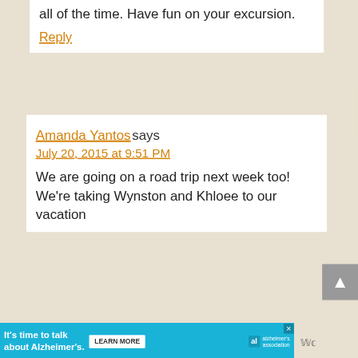all of the time. Have fun on your excursion.
Reply
Amanda Yantos says
July 20, 2015 at 9:51 PM
We are going on a road trip next week too! We're taking Wynston and Khloee to our vacation
[Figure (screenshot): Advertisement banner: It's time to talk about Alzheimer's. with Learn More button and Alzheimer's Association logo]